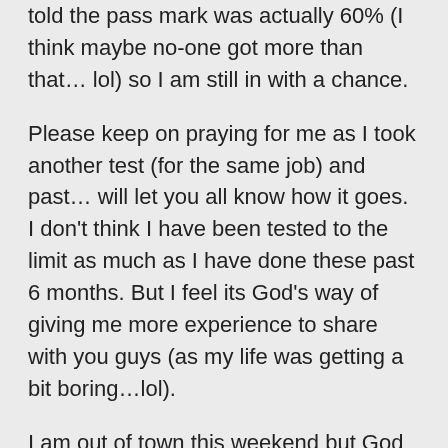told the pass mark was actually 60% (I think maybe no-one got more than that… lol) so I am still in with a chance.
Please keep on praying for me as I took another test (for the same job) and past… will let you all know how it goes. I don't think I have been tested to the limit as much as I have done these past 6 months. But I feel its God's way of giving me more experience to share with you guys (as my life was getting a bit boring…lol).
I am out of town this weekend but God willing, I will have more stories when I write on Monday.
Have a great weekend